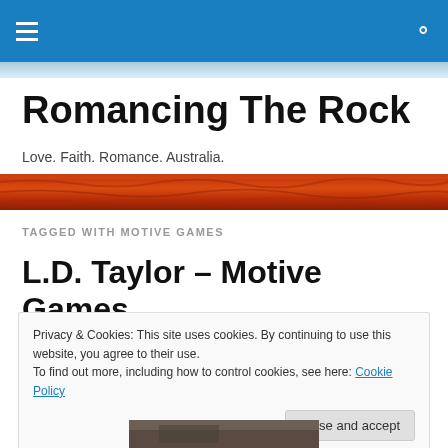Navigation bar with hamburger menu and search icon
Romancing The Rock
Love. Faith. Romance. Australia.
[Figure (photo): Red rock / Australian outback landscape banner image]
TAGGED WITH MOTIVE GAMES
L.D. Taylor – Motive Games
Privacy & Cookies: This site uses cookies. By continuing to use this website, you agree to their use. To find out more, including how to control cookies, see here: Cookie Policy  Close and accept
[Figure (photo): Partial photo visible at bottom of page]